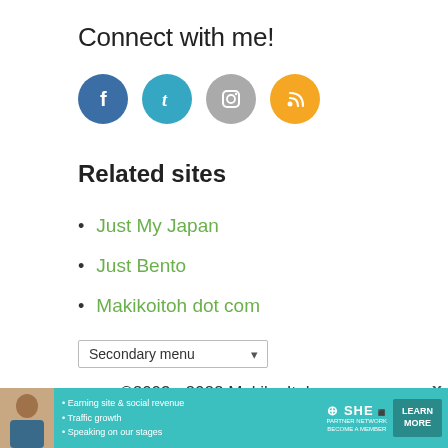Connect with me!
[Figure (infographic): Four social media icons in circles: Facebook (dark blue), Tumblr (cyan), Instagram (grey), RSS (orange)]
Related sites
Just My Japan
Just Bento
Makikoitoh dot com
Secondary menu ▾
©2003 - 2022 Makiko Itoh,
[Figure (infographic): Advertisement banner for SHE Partner Network: photo of woman, bullet points: Earning site & social revenue, Traffic growth, Speaking on our stages. SHE logo and Learn More button.]